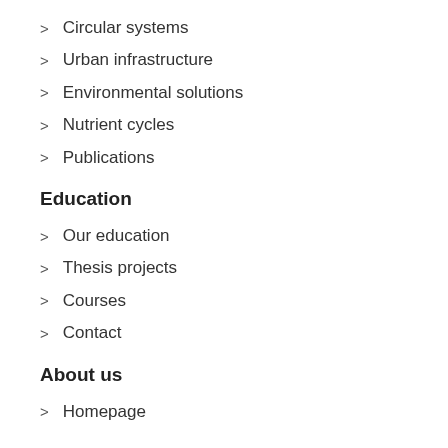Circular systems
Urban infrastructure
Environmental solutions
Nutrient cycles
Publications
Education
Our education
Thesis projects
Courses
Contact
About us
Homepage